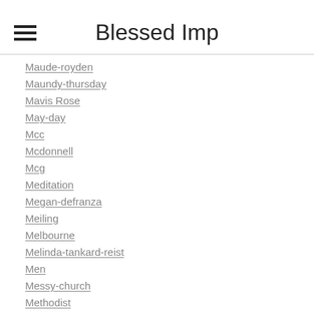Blessed Imp
Maude-royden
Maundy-thursday
Mavis Rose
May-day
Mcc
Mcdonnell
Mcg
Meditation
Megan-defranza
Meiling
Melbourne
Melinda-tankard-reist
Men
Messy-church
Methodist
Middle Axioms
Middle-east
Midnight Mass
Milton